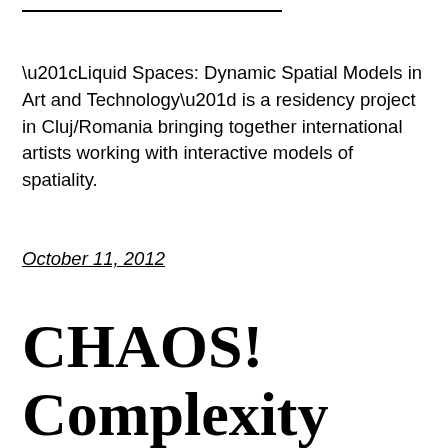“Liquid Spaces: Dynamic Spatial Models in Art and Technology” is a residency project in Cluj/Romania bringing together international artists working with interactive models of spatiality.
October 11, 2012
CHAOS! Complexity